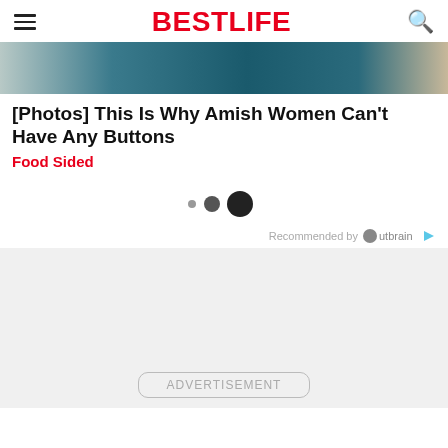BESTLIFE
[Figure (photo): Partial hero image showing teal/dark background, partial view of a photo]
[Photos] This Is Why Amish Women Can't Have Any Buttons
Food Sided
[Figure (other): Loading indicator with three dots of increasing size]
Recommended by Outbrain
ADVERTISEMENT